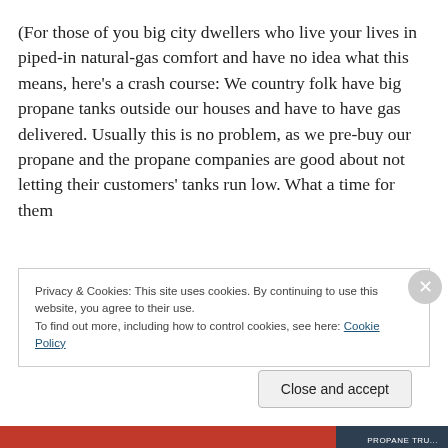(For those of you big city dwellers who live your lives in piped-in natural-gas comfort and have no idea what this means, here's a crash course: We country folk have big propane tanks outside our houses and have to have gas delivered. Usually this is no problem, as we pre-buy our propane and the propane companies are good about not letting their customers' tanks run low. What a time for them
Privacy & Cookies: This site uses cookies. By continuing to use this website, you agree to their use.
To find out more, including how to control cookies, see here: Cookie Policy
Close and accept